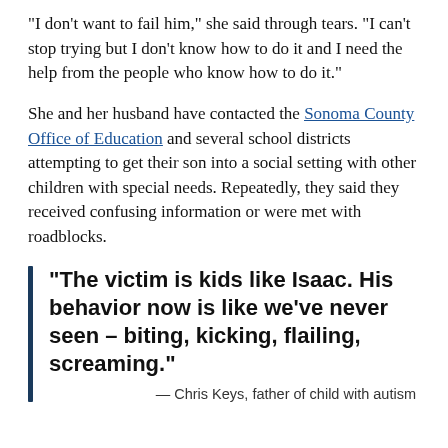"I don't want to fail him," she said through tears. "I can't stop trying but I don't know how to do it and I need the help from the people who know how to do it."
She and her husband have contacted the Sonoma County Office of Education and several school districts attempting to get their son into a social setting with other children with special needs. Repeatedly, they said they received confusing information or were met with roadblocks.
"The victim is kids like Isaac. His behavior now is like we’ve never seen – biting, kicking, flailing, screaming."
— Chris Keys, father of child with autism